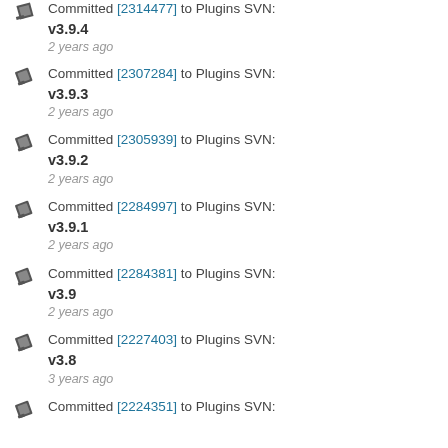Committed [2314477] to Plugins SVN: v3.9.4 — 2 years ago
Committed [2307284] to Plugins SVN: v3.9.3 — 2 years ago
Committed [2305939] to Plugins SVN: v3.9.2 — 2 years ago
Committed [2284997] to Plugins SVN: v3.9.1 — 2 years ago
Committed [2284381] to Plugins SVN: v3.9 — 2 years ago
Committed [2227403] to Plugins SVN: v3.8 — 3 years ago
Committed [2224351] to Plugins SVN: